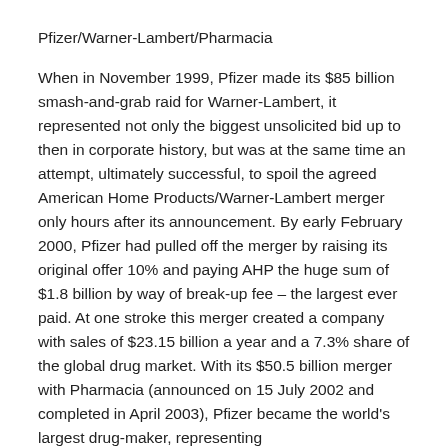Pfizer/Warner-Lambert/Pharmacia
When in November 1999, Pfizer made its $85 billion smash-and-grab raid for Warner-Lambert, it represented not only the biggest unsolicited bid up to then in corporate history, but was at the same time an attempt, ultimately successful, to spoil the agreed American Home Products/Warner-Lambert merger only hours after its announcement. By early February 2000, Pfizer had pulled off the merger by raising its original offer 10% and paying AHP the huge sum of $1.8 billion by way of break-up fee – the largest ever paid. At one stroke this merger created a company with sales of $23.15 billion a year and a 7.3% share of the global drug market. With its $50.5 billion merger with Pharmacia (announced on 15 July 2002 and completed in April 2003), Pfizer became the world's largest drug-maker, representing